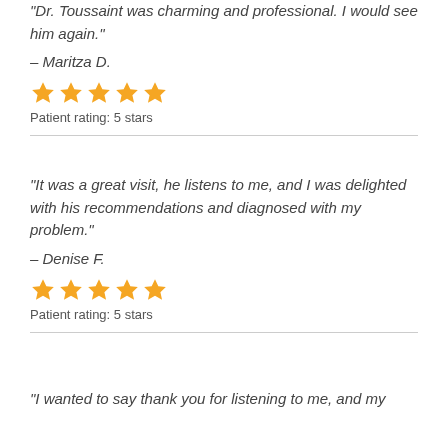“Dr. Toussaint was charming and professional. I would see him again.”
– Maritza D.
[Figure (infographic): Five orange stars representing a 5-star patient rating]
Patient rating: 5 stars
“It was a great visit, he listens to me, and I was delighted with his recommendations and diagnosed with my problem.”
– Denise F.
[Figure (infographic): Five orange stars representing a 5-star patient rating]
Patient rating: 5 stars
“I wanted to say thank you for listening to me, and my